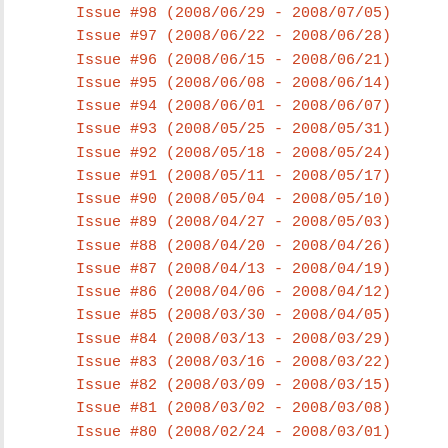Issue #98 (2008/06/29 - 2008/07/05)
Issue #97 (2008/06/22 - 2008/06/28)
Issue #96 (2008/06/15 - 2008/06/21)
Issue #95 (2008/06/08 - 2008/06/14)
Issue #94 (2008/06/01 - 2008/06/07)
Issue #93 (2008/05/25 - 2008/05/31)
Issue #92 (2008/05/18 - 2008/05/24)
Issue #91 (2008/05/11 - 2008/05/17)
Issue #90 (2008/05/04 - 2008/05/10)
Issue #89 (2008/04/27 - 2008/05/03)
Issue #88 (2008/04/20 - 2008/04/26)
Issue #87 (2008/04/13 - 2008/04/19)
Issue #86 (2008/04/06 - 2008/04/12)
Issue #85 (2008/03/30 - 2008/04/05)
Issue #84 (2008/03/13 - 2008/03/29)
Issue #83 (2008/03/16 - 2008/03/22)
Issue #82 (2008/03/09 - 2008/03/15)
Issue #81 (2008/03/02 - 2008/03/08)
Issue #80 (2008/02/24 - 2008/03/01)
Issue #79 (2008/02/17 - 2008/02/23)
Issue #78 (2008/02/10 - 2008/02/16)
Issue #77 (2008/02/03 - 2008/02/09)
Issue #76 (2008/01/27 - 2008/02/02)